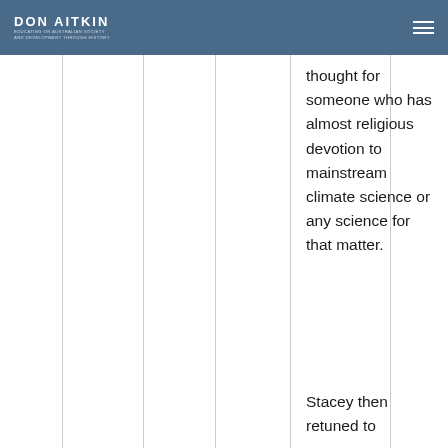DON AITKIN
thought for someone who has almost religious devotion to mainstream climate science or any science for that matter.
Stacey then retuned to